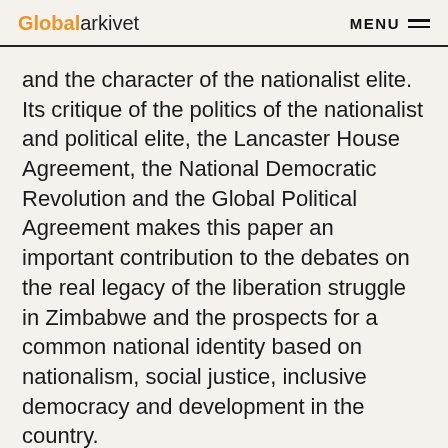Globalarkivet  MENU
and the character of the nationalist elite. Its critique of the politics of the nationalist and political elite, the Lancaster House Agreement, the National Democratic Revolution and the Global Political Agreement makes this paper an important contribution to the debates on the real legacy of the liberation struggle in Zimbabwe and the prospects for a common national identity based on nationalism, social justice, inclusive democracy and development in the country.
The Agrarian Question in